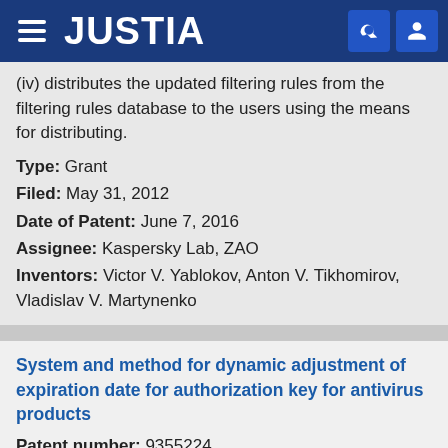JUSTIA
(iv) distributes the updated filtering rules from the filtering rules database to the users using the means for distributing.
Type: Grant
Filed: May 31, 2012
Date of Patent: June 7, 2016
Assignee: Kaspersky Lab, ZAO
Inventors: Victor V. Yablokov, Anton V. Tikhomirov, Vladislav V. Martynenko
System and method for dynamic adjustment of expiration date for authorization key for antivirus products
Patent number: 9355224
Abstract: A system for a dynamic adjustment of expiration date of an authorization key, the system comprising: a security product that will be installed on a